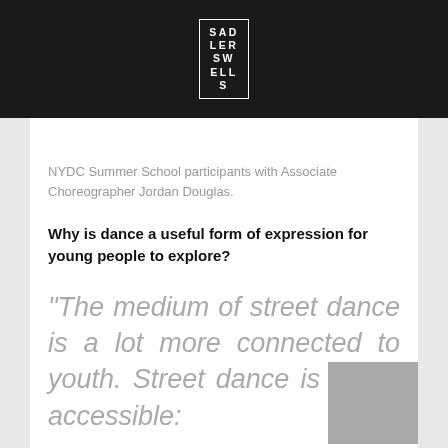SADLERS WELLS
NYDC Summer School participants with Associate Choreographer Jordan Douglas.
Why is dance a useful form of expression for young people to explore?
“The medium of street dance is a lot more connected to youth. Street dance is easily accessible: